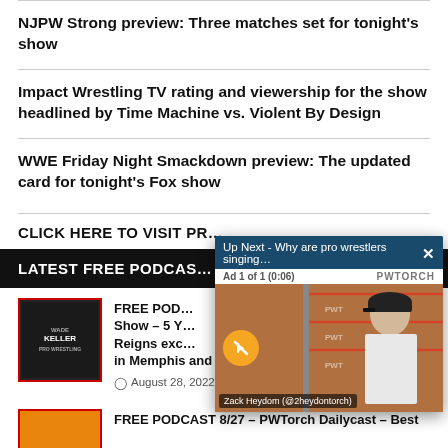NJPW Strong preview: Three matches set for tonight's show
Impact Wrestling TV rating and viewership for the show headlined by Time Machine vs. Violent By Design
WWE Friday Night Smackdown preview: The updated card for tonight's Fox show
CLICK HERE TO VISIT PR…
LATEST FREE PODCAS…
[Figure (screenshot): Video overlay popup showing 'Up Next - Why are pro wrestlers singing...' with ad indicator 'Ad 1 of 1 (0:06)', PWTORCH label, mute button, and a video frame showing a man in a black cap (Zack Heydom @2heydontorch) in a wrestling ring setting]
FREE POD… Show – 5 Y… Reigns exc… in Memphis and emails (121 min.) August 28, 2022
FREE PODCAST 8/27 – PWTorch Dailycast – Best…